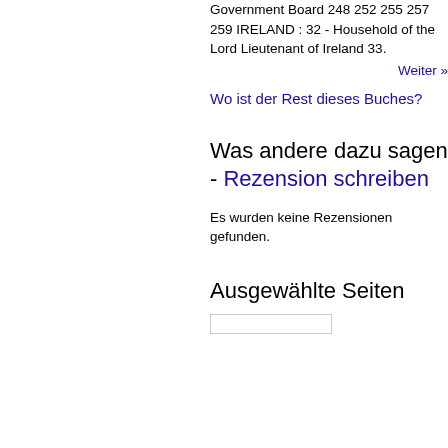Government Board 248 252 255 257 259 IRELAND : 32 - Household of the Lord Lieutenant of Ireland 33.
Weiter »
Wo ist der Rest dieses Buches?
Was andere dazu sagen - Rezension schreiben
Es wurden keine Rezensionen gefunden.
Ausgewählte Seiten